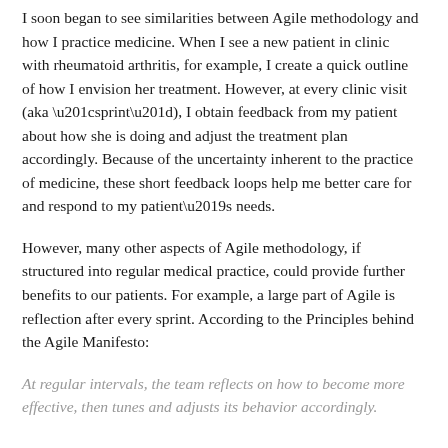I soon began to see similarities between Agile methodology and how I practice medicine. When I see a new patient in clinic with rheumatoid arthritis, for example, I create a quick outline of how I envision her treatment. However, at every clinic visit (aka “sprint”), I obtain feedback from my patient about how she is doing and adjust the treatment plan accordingly. Because of the uncertainty inherent to the practice of medicine, these short feedback loops help me better care for and respond to my patient’s needs.
However, many other aspects of Agile methodology, if structured into regular medical practice, could provide further benefits to our patients. For example, a large part of Agile is reflection after every sprint. According to the Principles behind the Agile Manifesto:
At regular intervals, the team reflects on how to become more effective, then tunes and adjusts its behavior accordingly.